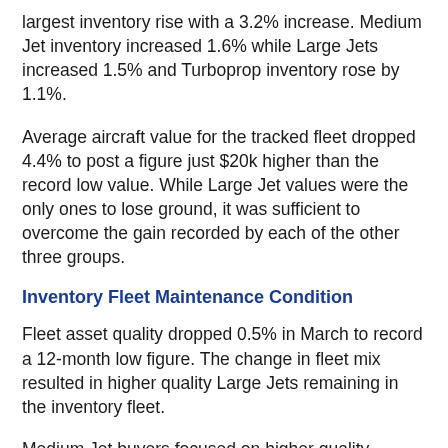largest inventory rise with a 3.2% increase. Medium Jet inventory increased 1.6% while Large Jets increased 1.5% and Turboprop inventory rose by 1.1%.
Average aircraft value for the tracked fleet dropped 4.4% to post a figure just $20k higher than the record low value. While Large Jet values were the only ones to lose ground, it was sufficient to overcome the gain recorded by each of the other three groups.
Inventory Fleet Maintenance Condition
Fleet asset quality dropped 0.5% in March to record a 12-month low figure. The change in fleet mix resulted in higher quality Large Jets remaining in the inventory fleet.
Medium Jet buyers focused on higher quality assets, resulting in the group's 12-month worst Quality